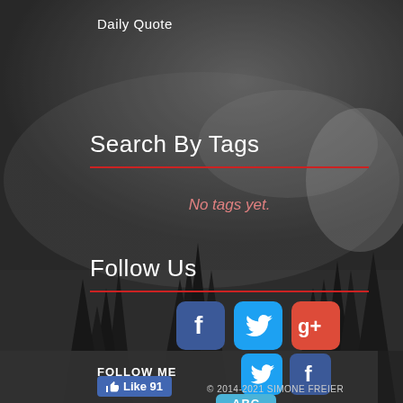Daily Quote
Search By Tags
No tags yet.
Follow Us
[Figure (illustration): Social media icons: Facebook (blue), Twitter (cyan), Google+ (red/orange) in row 1; Twitter (cyan) and Facebook (blue) in row 2]
FOLLOW ME
Like 91
© 2014-2021 SIMONE FREIER
ABC